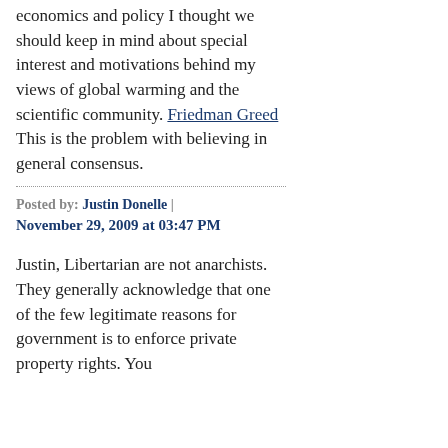economics and policy I thought we should keep in mind about special interest and motivations behind my views of global warming and the scientific community. Friedman Greed This is the problem with believing in general consensus.
Posted by: Justin Donelle | November 29, 2009 at 03:47 PM
Justin, Libertarian are not anarchists. They generally acknowledge that one of the few legitimate reasons for government is to enforce private property rights. You